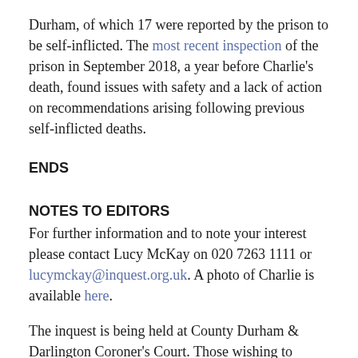Durham, of which 17 were reported by the prison to be self-inflicted. The most recent inspection of the prison in September 2018, a year before Charlie's death, found issues with safety and a lack of action on recommendations arising following previous self-inflicted deaths.
ENDS
NOTES TO EDITORS
For further information and to note your interest please contact Lucy McKay on 020 7263 1111 or lucymckay@inquest.org.uk. A photo of Charlie is available here.
The inquest is being held at County Durham & Darlington Coroner's Court. Those wishing to attend the inquest remotely must contact the court directly.